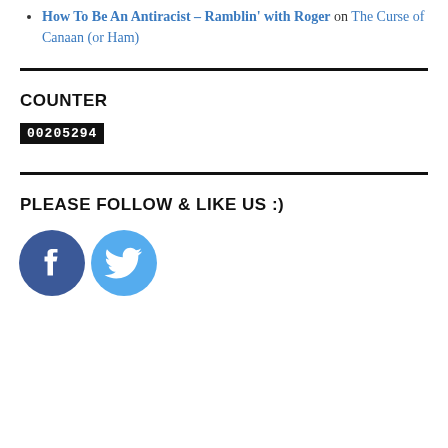How To Be An Antiracist – Ramblin' with Roger on The Curse of Canaan (or Ham)
COUNTER
00205294
PLEASE FOLLOW & LIKE US :)
[Figure (illustration): Facebook and Twitter social media icons side by side]